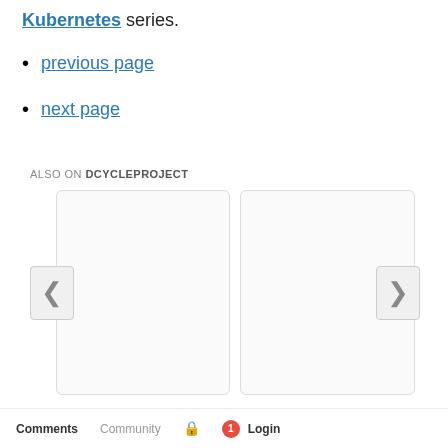Kubernetes series.
previous page
next page
ALSO ON DCYCLEPROJECT
[Figure (other): Two card placeholders with left and right navigation arrows, part of a Disqus 'Also On' widget]
Comments  Community  [lock icon]  1  Login